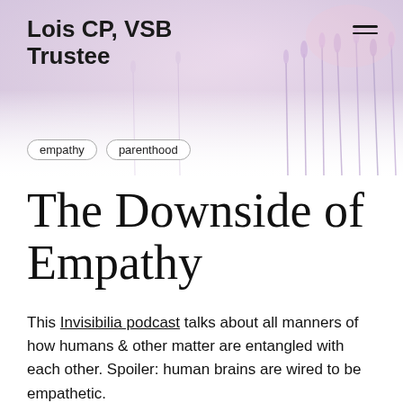Lois CP, VSB Trustee
[Figure (photo): Soft-focus background photo of lavender flowers in pastel purple and pink tones]
empathy
parenthood
The Downside of Empathy
This Invisibilia podcast talks about all manners of how humans & other matter are entangled with each other. Spoiler: human brains are wired to be empathetic.
But what does that really mean?